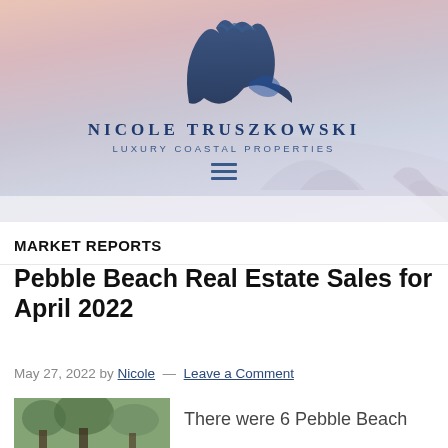[Figure (logo): Nicole Truszkowski Luxury Coastal Properties logo with dark blue abstract mountain/wave shape, set against a misty pink and lavender coastal background]
NICOLE TRUSZKOWSKI
LUXURY COASTAL PROPERTIES
MARKET REPORTS
Pebble Beach Real Estate Sales for April 2022
May 27, 2022 by Nicole — Leave a Comment
There were 6 Pebble Beach